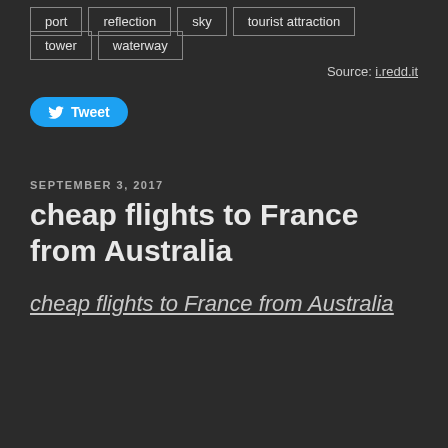port
reflection
sky
tourist attraction
tower
waterway
Source: i.redd.it
[Figure (other): Tweet button with Twitter bird icon]
SEPTEMBER 3, 2017
cheap flights to France from Australia
cheap flights to France from Australia